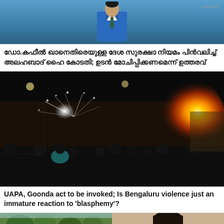[Figure (photo): Man in blue suit with green tie, upper body visible against blue background]
ഡോ.കഫീൽ ഖാനെതിരെയുള്ള ദേശ സുരക്ഷാ നിയമം പിൻവലിച്ച് അലഹബാദ് ഹൈ കോടതി; ഉടൻ മോചിപ്പിക്കണമെന്ന് ഉത്തരവ്
[Figure (photo): Night scene of violence/riot with fire, sparks and crowds in Bengaluru]
UAPA, Goonda act to be invoked; Is Bengaluru violence just an immature reaction to 'blasphemy'?
[Figure (photo): Split image: left side shows trees/outdoor scene, right side shows a woman's face]